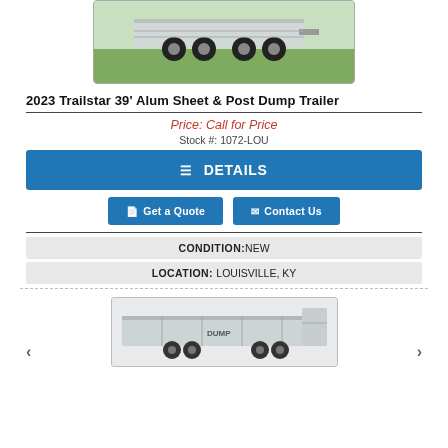[Figure (photo): Photo of a 2023 Trailstar aluminum dump trailer on grass, showing undercarriage, wheels and axles from rear angle]
2023 Trailstar 39' Alum Sheet & Post Dump Trailer
Price: Call for Price
Stock #: 1072-LOU
DETAILS
Get a Quote
Contact Us
CONDITION: NEW
LOCATION: LOUISVILLE, KY
[Figure (photo): Photo of the 2023 Trailstar dump trailer from the side, showing the full length aluminum body]